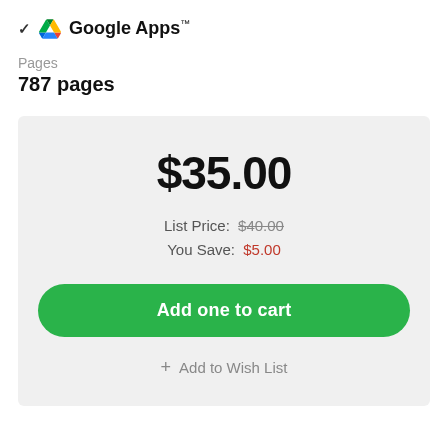✓ Google Apps™
Pages
787 pages
$35.00
List Price: $40.00
You Save: $5.00
Add one to cart
+ Add to Wish List